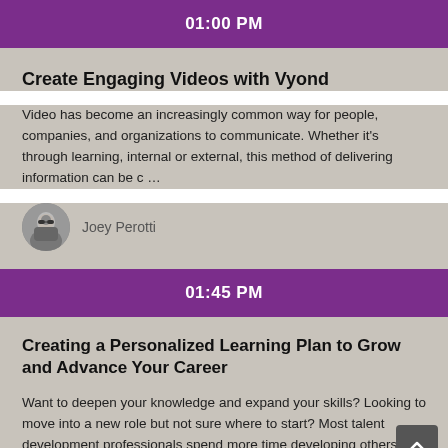01:00 PM
Create Engaging Videos with Vyond
Video has become an increasingly common way for people, companies, and organizations to communicate. Whether it's through learning, internal or external, this method of delivering information can be c …
Joey Perotti
01:45 PM
Creating a Personalized Learning Plan to Grow and Advance Your Career
Want to deepen your knowledge and expand your skills? Looking to move into a new role but not sure where to start? Most talent development professionals spend more time developing others rather than f …